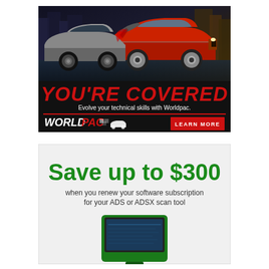[Figure (illustration): Worldpac advertisement: Two cars merging (modern silver car and classic red car), dark city background. Text: YOU'RE COVERED. Evolve your technical skills with Worldpac. Worldpac logo and LEARN MORE button.]
[Figure (illustration): Advertisement: Save up to $300 when you renew your software subscription for your ADS or ADSX scan tool. Green diagnostic scan tool device shown at bottom.]